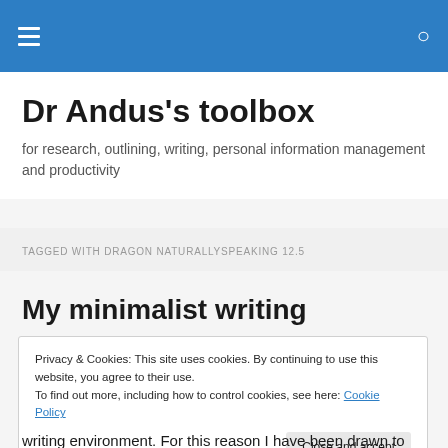Dr Andus's toolbox
for research, outlining, writing, personal information management and productivity
TAGGED WITH DRAGON NATURALLYSPEAKING 12.5
My minimalist writing
Privacy & Cookies: This site uses cookies. By continuing to use this website, you agree to their use.
To find out more, including how to control cookies, see here: Cookie Policy
writing environment. For this reason I have been drawn to